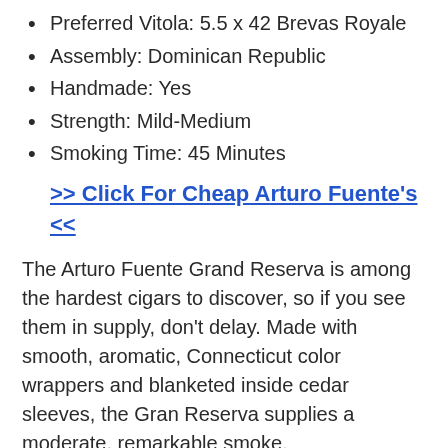Preferred Vitola: 5.5 x 42 Brevas Royale
Assembly: Dominican Republic
Handmade: Yes
Strength: Mild-Medium
Smoking Time: 45 Minutes
>> Click For Cheap Arturo Fuente's <<
The Arturo Fuente Grand Reserva is among the hardest cigars to discover, so if you see them in supply, don't delay. Made with smooth, aromatic, Connecticut color wrappers and blanketed inside cedar sleeves, the Gran Reserva supplies a moderate, remarkable smoke.